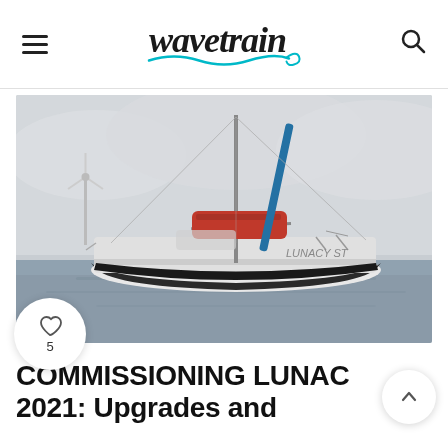WaveTrain (logo)
[Figure (photo): A white sailboat with a red sail cover and blue spinnaker pole, moored on calm water under an overcast sky. A wind turbine is visible in the background on the left.]
COMMISSIONING LUNAC 2021: Upgrades and